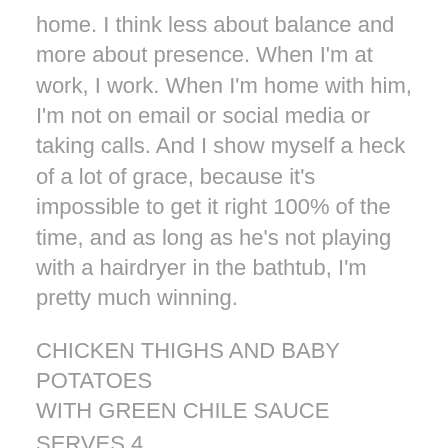home. I think less about balance and more about presence. When I'm at work, I work. When I'm home with him, I'm not on email or social media or taking calls. And I show myself a heck of a lot of grace, because it's impossible to get it right 100% of the time, and as long as he's not playing with a hairdryer in the bathtub, I'm pretty much winning.
CHICKEN THIGHS AND BABY POTATOES WITH GREEN CHILE SAUCE
SERVES 4
PREP: 25 minutes
SLOW COOK: 6 hours (low) or 3 hours (high)
TOTAL: 6 hours 25 minutes
The sauce for this chicken dish is essentially salsa verde— savory and tart with the lemon